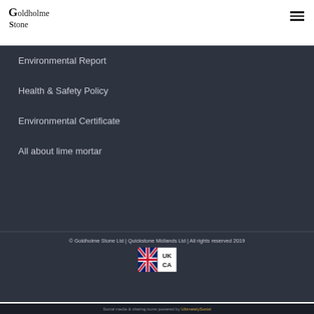[Figure (logo): Goldholme Stone logo with stylized G and text in serif font]
Environmental Report
Health & Safety Policy
Environmental Certificate
All about lime mortar
© Goldholme Stone Ltd | Quickstone Midlands Ltd | All rights reserved 2019
[Figure (logo): UKCA mark logo with UK flag and UKCA text]
Social media & sharing icons powered by UltimatelySocial